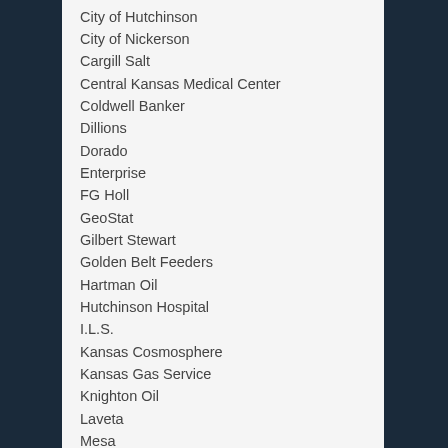City of Hutchinson
City of Nickerson
Cargill Salt
Central Kansas Medical Center
Coldwell Banker
Dillions
Dorado
Enterprise
FG Holl
GeoStat
Gilbert Stewart
Golden Belt Feeders
Hartman Oil
Hutchinson Hospital
I.L.S.
Kansas Cosmosphere
Kansas Gas Service
Knighton Oil
Laveta
Mesa
Mid-America Feed Yard
Mid-Continent Fractilation & Storage
Morton Salt